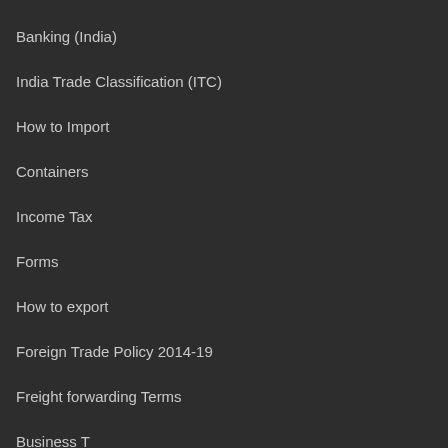Banking (India)
India Trade Classification (ITC)
How to Import
Containers
Income Tax
Forms
How to export
Foreign Trade Policy 2014-19
Freight forwarding Terms
Business Terms